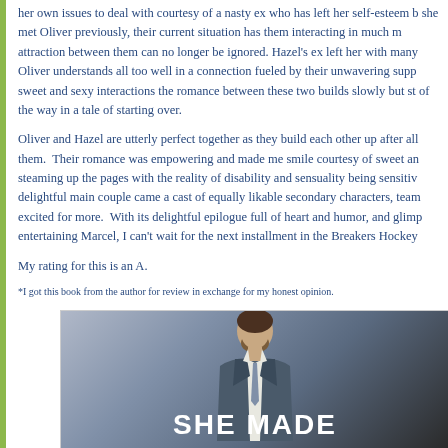her own issues to deal with courtesy of a nasty ex who has left her self-esteem b... she met Oliver previously, their current situation has them interacting in much m... attraction between them can no longer be ignored. Hazel's ex left her with many... Oliver understands all too well in a connection fueled by their unwavering supp... sweet and sexy interactions the romance between these two builds slowly but st... of the way in a tale of starting over.
Oliver and Hazel are utterly perfect together as they build each other up after all... them. Their romance was empowering and made me smile courtesy of sweet an... steaming up the pages with the reality of disability and sensuality being sensitiv... delightful main couple came a cast of equally likable secondary characters, team... excited for more. With its delightful epilogue full of heart and humor, and glimp... entertaining Marcel, I can't wait for the next installment in the Breakers Hockey...
My rating for this is an A.
*I got this book from the author for review in exchange for my honest opinion.
[Figure (photo): Book cover showing a man in a suit with beard, title text 'SHE MADE' visible at bottom]